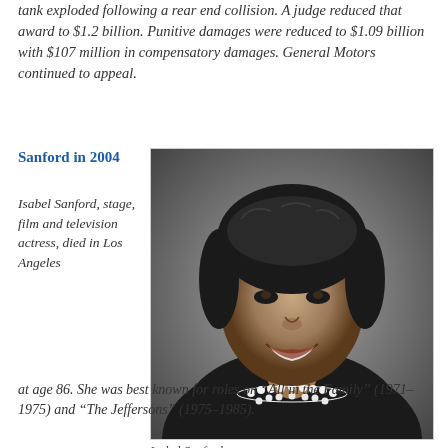tank exploded following a rear end collision. A judge reduced that award to $1.2 billion. Punitive damages were reduced to $1.09 billion with $107 million in compensatory damages. General Motors continued to appeal.
Sanford in 2004
Isabel Sanford, stage, film and television actress, died in Los Angeles at age 86. She was best known for roles on “All in the Family” (1971–1975) and “The Jeffersons” (1975–1985).
[Figure (photo): Black and white portrait photograph of Isabel Sanford, a smiling woman wearing pearl necklaces and earrings, with short dark curly hair.]
Isabel Sanford.